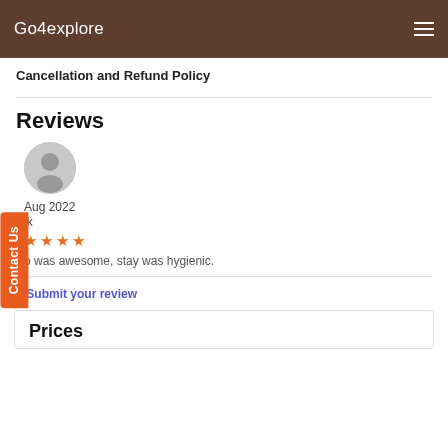Go4explore
Cancellation and Refund Policy
Reviews
Aug 2022
ik
★ ★ ★ ★
o was awesome, stay was hygienic.
+ Submit your review
Prices